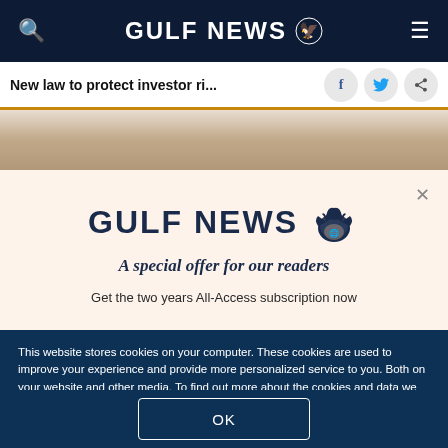GULF NEWS
New law to protect investor ri...
[Figure (photo): Partial photo of a person, cropped at top of modal overlay]
GULF NEWS
A special offer for our readers
Get the two years All-Access subscription now
This website stores cookies on your computer. These cookies are used to improve your experience and provide more personalized service to you. Both on your website and other media. To find out more about the cookies and data we use, please check out our Privacy Policy.
OK